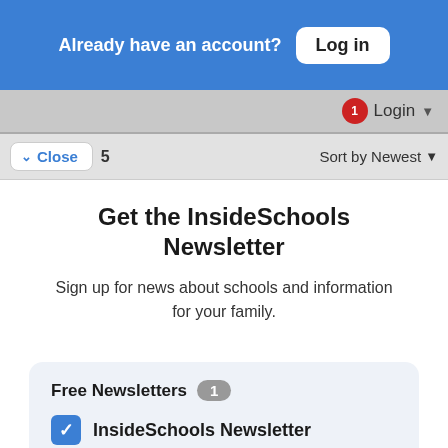Already have an account? Log in
Login
5   Sort by Newest
Close
Get the InsideSchools Newsletter
Sign up for news about schools and information for your family.
Free Newsletters 1
InsideSchools Newsletter